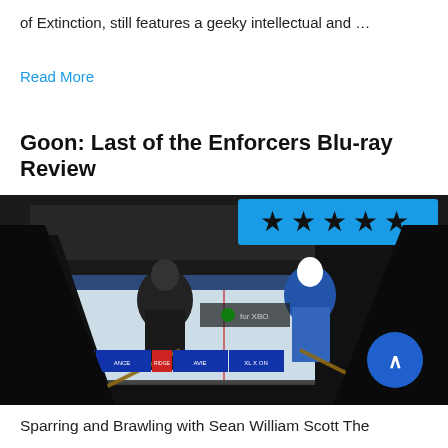of Extinction, still features a geeky intellectual and …
Read More
Goon: Last of the Enforcers Blu-ray Review
[Figure (photo): Hockey scene from Goon: Last of the Enforcers Blu-ray, showing players on ice rink with sponsors in background, a blue star rating box with 4 stars in top right, and a blue scroll-up button in bottom right]
Sparring and Brawling with Sean William Scott The